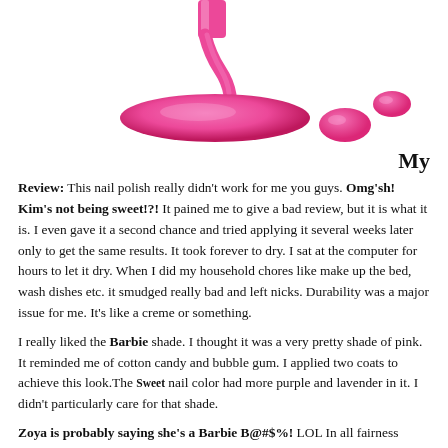[Figure (illustration): Hot pink nail polish being poured, forming a large puddle with two smaller droplets beside it, on a white background.]
My
Review: This nail polish really didn't work for me you guys. Omg'sh! Kim's not being sweet!?! It pained me to give a bad review, but it is what it is. I even gave it a second chance and tried applying it several weeks later only to get the same results. It took forever to dry. I sat at the computer for hours to let it dry. When I did my household chores like make up the bed, wash dishes etc. it smudged really bad and left nicks. Durability was a major issue for me. It's like a creme or something.
I really liked the Barbie shade. I thought it was a very pretty shade of pink. It reminded me of cotton candy and bubble gum. I applied two coats to achieve this look.The Sweet nail color had more purple and lavender in it. I didn't particularly care for that shade.
Zoya is probably saying she's a Barbie B@#$%! LOL In all fairness though, if anyone else has used Zoya nail polish, please give me your take on it. They always have great promotions and offer a wide nail color selection. I do find it on sale with Zoya Point This...